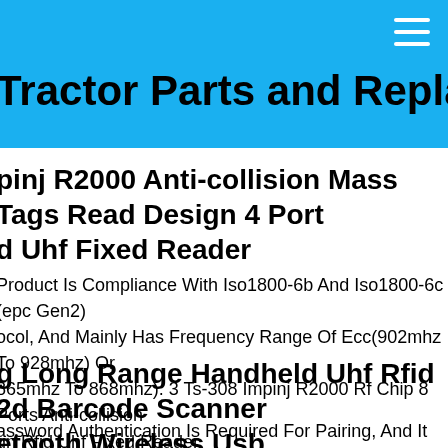Tractor Parts and Replacement
pinj R2000 Anti-collision Mass Tags Read Design 4 Port d Uhf Fixed Reader
Product Is Compliance With Iso1800-6b And Iso1800-6c (epc Gen2) ocol, And Mainly Has Frequency Range Of Ecc(902mhz To 928mhz) Or 865mhz To 868mhz). 3 Ts-308 Impinj R2000 Rf Chip 8 Ports Anti-collision gn Rfid Uhf Fixed Reader.
g Long Range Handheld Uhf Rfid 2d Barcode Scanner etooth Wireless Usb
assword Authentication Is Required For Pairing, And It Can Be Paired ctly. Sensitive Scanning Code Recognition Rate Is High 3. Fast Transmiss ed, No Need To Load Program. It Is Widely Used In Windows, Ios, Androi